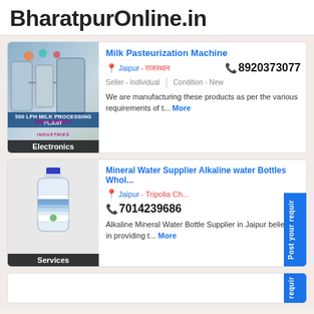BharatpurOnline.in
Milk Pasteurization Machine
Jaipur - राजस्थान
8920373077
Seller - Individual | Condition - New
We are manufacturing these products as per the various requirements of t... More
[Figure (photo): Milk processing plant machinery photo with Electronics label]
Mineral Water Supplier Alkaline water Bottles Whol...
Jaipur - Tripolia Ch...  7014239686
Alkaline Mineral Water Bottle Supplier in Jaipur believes in providing t... More
[Figure (photo): Water bottle photo with Services label]